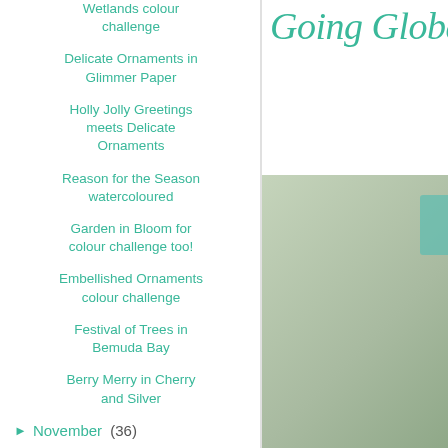Wetlands colour challenge
Delicate Ornaments in Glimmer Paper
Holly Jolly Greetings meets Delicate Ornaments
Reason for the Season watercoloured
Garden in Bloom for colour challenge too!
Embellished Ornaments colour challenge
Festival of Trees in Bemuda Bay
Berry Merry in Cherry and Silver
► November (36)
► October (19)
► September (31)
Going Globa
[Figure (photo): A photo partially visible on the right side showing a sage/green toned image with a teal accent strip]